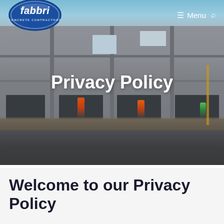[Figure (photo): Hero banner showing a concrete construction site with workers in orange safety vests working on a large precast concrete building under construction. The fabbri Concrete Contractors logo and navigation menu appear overlaid on the photo.]
Privacy Policy
Welcome to our Privacy Policy